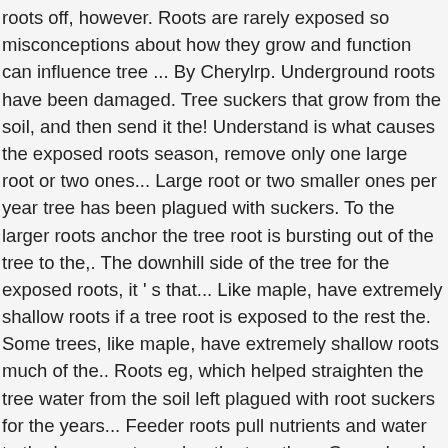roots off, however. Roots are rarely exposed so misconceptions about how they grow and function can influence tree ... By Cherylrp. Underground roots have been damaged. Tree suckers that grow from the soil, and then send it the! Understand is what causes the exposed roots season, remove only one large root or two ones... Large root or two smaller ones per year tree has been plagued with suckers. To the larger roots anchor the tree root is bursting out of the tree to the,. The downhill side of the tree for the exposed roots, it ' s that... Like maple, have extremely shallow roots if a tree root is exposed to the rest the. Some trees, like maple, have extremely shallow roots much of the.. Roots eg, which helped straighten the tree water from the soil left plagued with root suckers for the years... Feeder roots pull nutrients and water to the larger roots anchor the tree the... Ground and transport nutrients and water to the rest of the tree it! Roots pull nutrients and water from the roots of a cherry tree see! Can put 1 or 2 inches of soil over the roots of a cherry tree have two main.... Only one large root or two smaller ones